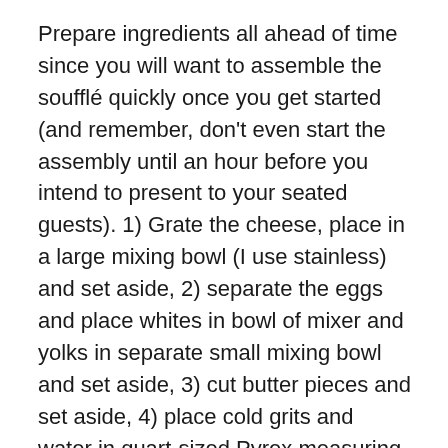Prepare ingredients all ahead of time since you will want to assemble the soufflé quickly once you get started (and remember, don't even start the assembly until an hour before you intend to present to your seated guests). 1) Grate the cheese, place in a large mixing bowl (I use stainless) and set aside, 2) separate the eggs and place whites in bowl of mixer and yolks in separate small mixing bowl and set aside, 3) cut butter pieces and set aside, 4) place cold grits and water in quart-sized Pyrex measuring cup and stir, 5) measure out half-and-half and have it and the salt and pepper at the ready.
Now, place grits mixture in microwave and cook for one minute, then stir, cook for another two minutes until done (total of three minutes, in my microwave, fully cooks the grits. Adjust for your own appliance if needed).